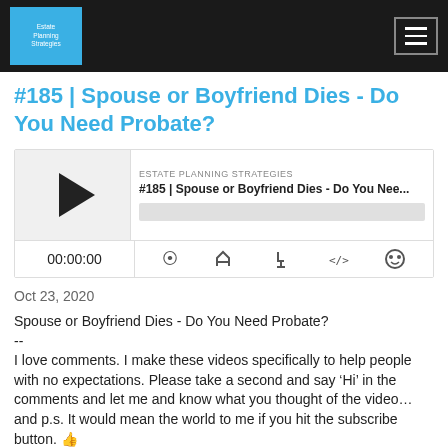[Figure (screenshot): Website header bar with Estate Planning Strategies logo in blue square on left, and hamburger menu button on right, on dark background]
#185 | Spouse or Boyfriend Dies - Do You Need Probate?
[Figure (screenshot): Podcast audio player widget showing play button, episode title '#185 | Spouse or Boyfriend Dies - Do You Nee...', ESTATE PLANNING STRATEGIES label, progress bar, time display 00:00:00, and control icons for RSS feed, download, embed, and share]
Oct 23, 2020
Spouse or Boyfriend Dies - Do You Need Probate?
--
I love comments. I make these videos specifically to help people with no expectations. Please take a second and say ‘Hi’ in the comments and let me and know what you thought of the video… and p.s. It would mean the world to me if you hit the subscribe button. 👍
--
If you want to talk more about estate planning:
https://estatemeeting.com